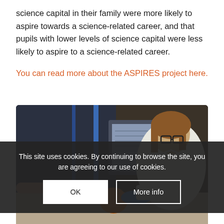science capital in their family were more likely to aspire towards a science-related career, and that pupils with lower levels of science capital were less likely to aspire to a science-related career.
You can read more about the ASPIRES project here.
[Figure (photo): A young girl wearing glasses and a white lab coat with blue gloves, working on a science experiment at a table. A monitor screen is visible in the background. An adult's hand points at something nearby.]
This site uses cookies. By continuing to browse the site, you are agreeing to our use of cookies.